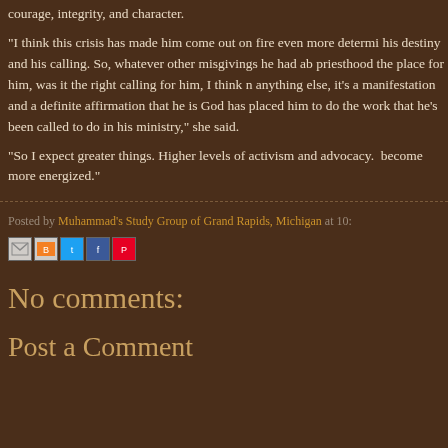courage, integrity, and character.
“I think this crisis has made him come out on fire even more determined about his destiny and his calling. So, whatever other misgivings he had about whether priesthood the place for him, was it the right calling for him, I think no more than anything else, it’s a manifestation and a definite affirmation that he is where God has placed him to do the work that he’s been called to do in his ministry,” she said.
“So I expect greater things. Higher levels of activism and advocacy. I expect him to become more energized.”
Posted by Muhammad's Study Group of Grand Rapids, Michigan at 10:
[Figure (other): Social sharing icons: Email, BlogThis, Twitter, Facebook, Pinterest]
No comments:
Post a Comment